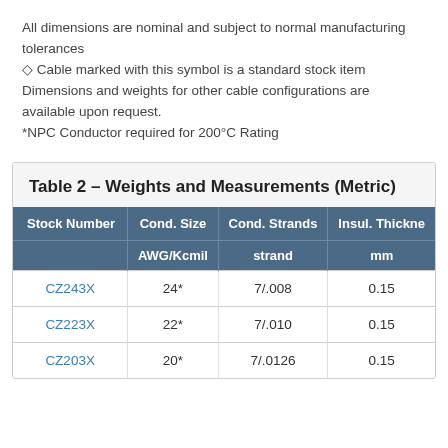All dimensions are nominal and subject to normal manufacturing tolerances
◇ Cable marked with this symbol is a standard stock item
Dimensions and weights for other cable configurations are available upon request.
*NPC Conductor required for 200°C Rating
Table 2 – Weights and Measurements (Metric)
| Stock Number | Cond. Size AWG/Kcmil | Cond. Strands strand | Insul. Thickness mm |
| --- | --- | --- | --- |
| CZ243X | 24* | 7/.008 | 0.15 |
| CZ223X | 22* | 7/.010 | 0.15 |
| CZ203X | 20* | 7/.0126 | 0.15 |